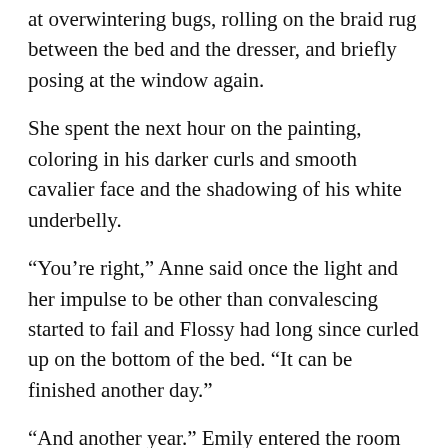returned to the room. Anne observed him stalking and scratching at overwintering bugs, rolling on the braid rug between the bed and the dresser, and briefly posing at the window again.
She spent the next hour on the painting, coloring in his darker curls and smooth cavalier face and the shadowing of his white underbelly.
“You’re right,” Anne said once the light and her impulse to be other than convalescing started to fail and Flossy had long since curled up on the bottom of the bed. “It can be finished another day.”
“And another year.” Emily entered the room with something wrapped in a serviette, tapping Flossy’s nose to let him know what she thought of his begging.
“It’s warm and smells sweet and of currants.” Anne accepted Emily’s gift. “You’ve made bannocks.”